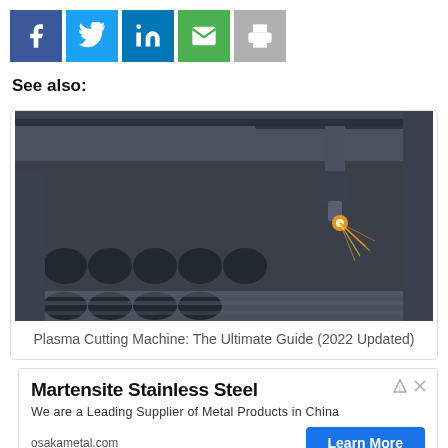[Figure (infographic): Social media sharing buttons: Facebook (dark blue), Twitter (light blue), LinkedIn (blue), Email (green), Print (gray)]
See also:
[Figure (photo): Plasma cutting machine cutting holes in a metal sheet with sparks flying]
Plasma Cutting Machine: The Ultimate Guide (2022 Updated)
[Figure (infographic): Advertisement: Martensite Stainless Steel - We are a Leading Supplier of Metal Products in China - osakametal.com - Learn More button]